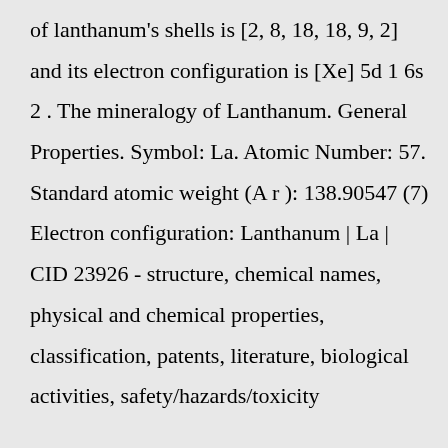of lanthanum's shells is [2, 8, 18, 18, 9, 2] and its electron configuration is [Xe] 5d 1 6s 2 . The mineralogy of Lanthanum. General Properties. Symbol: La. Atomic Number: 57. Standard atomic weight (A r ): 138.90547 (7) Electron configuration: Lanthanum | La | CID 23926 - structure, chemical names, physical and chemical properties, classification, patents, literature, biological activities, safety/hazards/toxicity